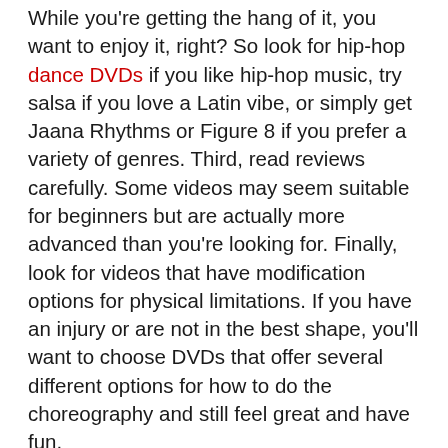While you're getting the hang of it, you want to enjoy it, right? So look for hip-hop dance DVDs if you like hip-hop music, try salsa if you love a Latin vibe, or simply get Jaana Rhythms or Figure 8 if you prefer a variety of genres. Third, read reviews carefully. Some videos may seem suitable for beginners but are actually more advanced than you're looking for. Finally, look for videos that have modification options for physical limitations. If you have an injury or are not in the best shape, you'll want to choose DVDs that offer several different options for how to do the choreography and still feel great and have fun.
You may want to test out a few before committing to months of learning the steps, so try out our Body FX subscription to access multiple styles of dance workouts, and see what you like! With the right attitude and the right program, you'll be on your way to getting fit while having fun!